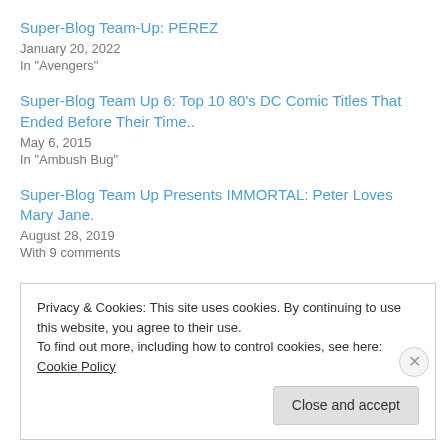Super-Blog Team-Up: PEREZ
January 20, 2022
In "Avengers"
Super-Blog Team Up 6: Top 10 80's DC Comic Titles That Ended Before Their Time..
May 6, 2015
In "Ambush Bug"
Super-Blog Team Up Presents IMMORTAL: Peter Loves Mary Jane.
August 28, 2019
With 9 comments
Privacy & Cookies: This site uses cookies. By continuing to use this website, you agree to their use.
To find out more, including how to control cookies, see here: Cookie Policy